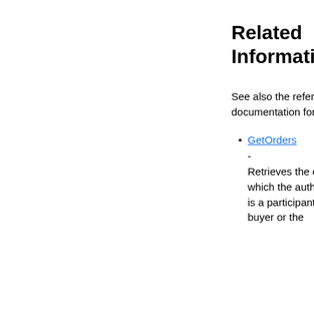Related Information
See also the reference documentation for this call:
GetOrders - Retrieves the orders for which the authenticated user is a participant, either as the buyer or the